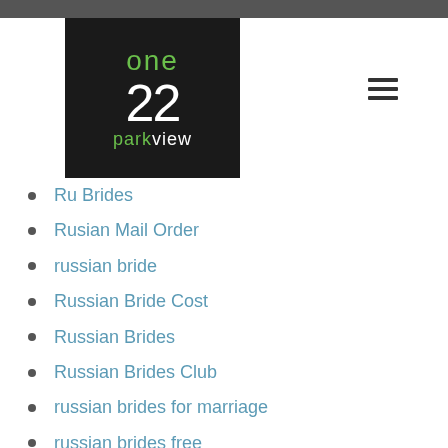[Figure (logo): One 22 Parkview logo: white text '22' and 'parkview' with green 'one' and 'park', on dark/black background]
Ru Brides
Rusian Mail Order
russian bride
Russian Bride Cost
Russian Brides
Russian Brides Club
russian brides for marriage
russian brides free
Russian Brides Svu
Russian Dating
russian lady